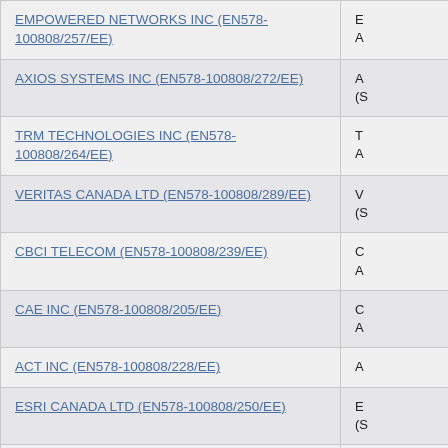| Supplier / Contract | Details |
| --- | --- |
| EMPOWERED NETWORKS INC (EN578-100808/257/EE) | E A |
| AXIOS SYSTEMS INC (EN578-100808/272/EE) | A (S |
| TRM TECHNOLOGIES INC (EN578-100808/264/EE) | T A |
| VERITAS CANADA LTD (EN578-100808/289/EE) | V (S |
| CBCI TELECOM (EN578-100808/239/EE) | C A |
| CAE INC (EN578-100808/205/EE) | C A |
| ACT INC (EN578-100808/228/EE) | A |
| ESRI CANADA LTD (EN578-100808/250/EE) | E (S |
| DALIAN ENTERPRISES INC (EN578-100808/253/EE) | D A |
| SOFTWORX TECHNOLOGY GROUP (EN578-100808/[cut]/EE) | S |